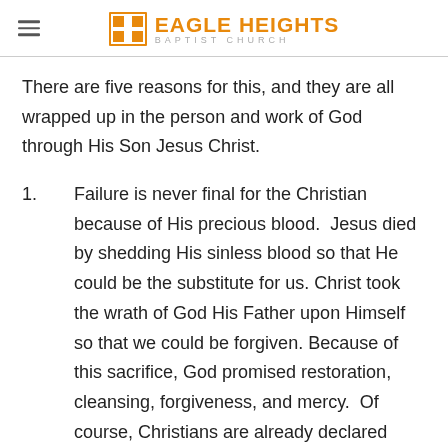Eagle Heights Baptist Church
There are five reasons for this, and they are all wrapped up in the person and work of God through His Son Jesus Christ.
1.      Failure is never final for the Christian because of His precious blood.  Jesus died by shedding His sinless blood so that He could be the substitute for us. Christ took the wrath of God His Father upon Himself so that we could be forgiven. Because of this sacrifice, God promised restoration, cleansing, forgiveness, and mercy.  Of course, Christians are already declared totally righteous for all eternity, but those of us who